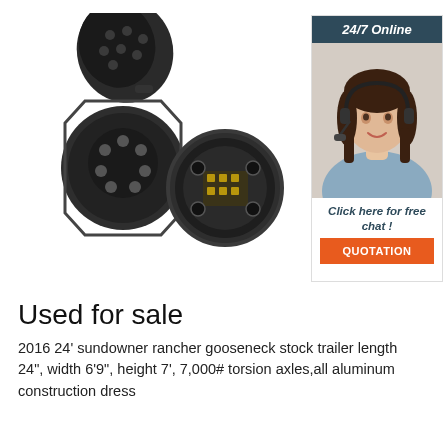[Figure (photo): Two black plastic 7-pin trailer electrical connectors photographed on white background — one with lid open showing pin layout, one showing internal wiring terminals]
[Figure (infographic): 24/7 Online chat widget showing a smiling woman with a headset, text 'Click here for free chat!' and an orange QUOTATION button]
Used for sale
2016 24' sundowner rancher gooseneck stock trailer length 24'', width 6'9'', height 7', 7,000# torsion axles,all aluminum construction dress